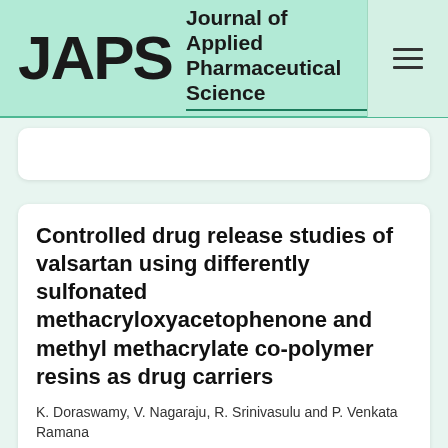JAPS Journal of Applied Pharmaceutical Science
Controlled drug release studies of valsartan using differently sulfonated methacryloxyacetophenone and methyl methacrylate co-polymer resins as drug carriers
K. Doraswamy, V. Nagaraju, R. Srinivasulu and P. Venkata Ramana